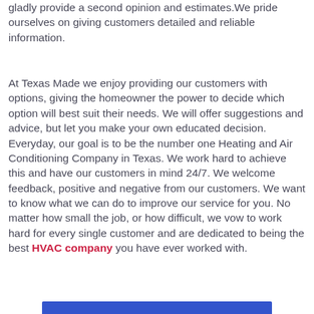gladly provide a second opinion and estimates.We pride ourselves on giving customers detailed and reliable information.
At Texas Made we enjoy providing our customers with options, giving the homeowner the power to decide which option will best suit their needs. We will offer suggestions and advice, but let you make your own educated decision. Everyday, our goal is to be the number one Heating and Air Conditioning Company in Texas. We work hard to achieve this and have our customers in mind 24/7. We welcome feedback, positive and negative from our customers. We want to know what we can do to improve our service for you. No matter how small the job, or how difficult, we vow to work hard for every single customer and are dedicated to being the best HVAC company you have ever worked with.